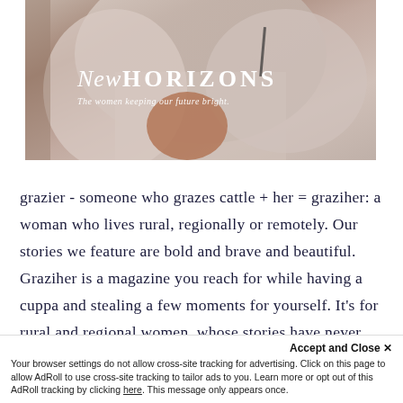[Figure (photo): Magazine cover photo of a woman in a beige/cream jacket, rural outdoor setting. Overlaid text reads 'New HORIZONS' with subtitle 'The women keeping our future bright.']
grazier - someone who grazes cattle + her = graziher: a woman who lives rural, regionally or remotely. Our stories we feature are bold and brave and beautiful. Graziher is a magazine you reach for while having a cuppa and stealing a few moments for yourself. It's for rural and regional women, whose stories have never been told.
Accept and Close ✕
Your browser settings do not allow cross-site tracking for advertising. Click on this page to allow AdRoll to use cross-site tracking to tailor ads to you. Learn more or opt out of this AdRoll tracking by clicking here. This message only appears once.